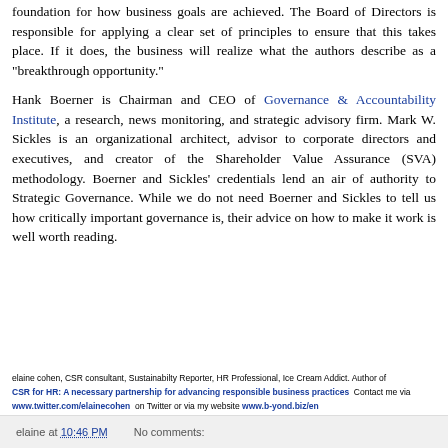foundation for how business goals are achieved. The Board of Directors is responsible for applying a clear set of principles to ensure that this takes place. If it does, the business will realize what the authors describe as a "breakthrough opportunity."
Hank Boerner is Chairman and CEO of Governance & Accountability Institute, a research, news monitoring, and strategic advisory firm. Mark W. Sickles is an organizational architect, advisor to corporate directors and executives, and creator of the Shareholder Value Assurance (SVA) methodology. Boerner and Sickles' credentials lend an air of authority to Strategic Governance. While we do not need Boerner and Sickles to tell us how critically important governance is, their advice on how to make it work is well worth reading.
elaine cohen, CSR consultant, Sustainabilty Reporter, HR Professional, Ice Cream Addict. Author of CSR for HR: A necessary partnership for advancing responsible business practices  Contact me via www.twitter.com/elainecohen  on Twitter or via my website www.b-yond.biz/en
elaine at 10:46 PM    No comments: